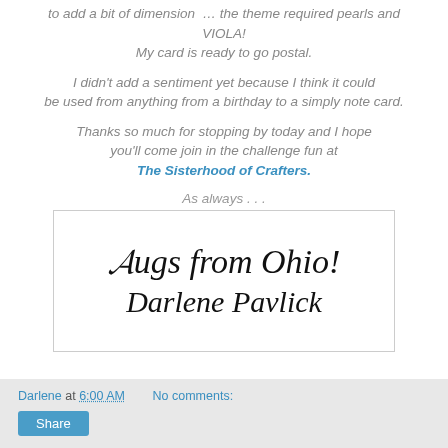to add a bit of dimension … the theme required pearls and VIOLA!
My card is ready to go postal.
I didn't add a sentiment yet because I think it could be used from anything from a birthday to a simply note card.
Thanks so much for stopping by today and I hope you'll come join in the challenge fun at The Sisterhood of Crafters.
As always . . .
[Figure (illustration): Handwritten cursive signature reading 'Hugs from Ohio! Darlene Pavlick' in an ornate script style, inside a bordered box.]
Darlene at 6:00 AM   No comments:
Share